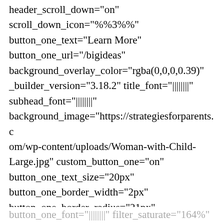header_scroll_down="on"
scroll_down_icon="%%3%%"
button_one_text="Learn More"
button_one_url="/bigideas"
background_overlay_color="rgba(0,0,0,0.39)"
_builder_version="3.18.2" title_font="||||||||"
subhead_font="||||||||"
background_image="https://strategiesforparents.com/wp-content/uploads/Woman-with-Child-Large.jpg" custom_button_one="on"
button_one_text_size="20px"
button_one_border_width="2px"
button_one_border_radius="21px"
button_one_font="||||||||" filter_saturate="164%"